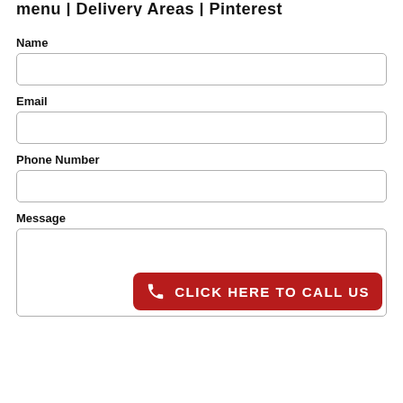menu | Delivery Areas | Pinterest
Name
Email
Phone Number
Message
[Figure (other): Red button with phone icon and text 'CLICK HERE TO CALL US']